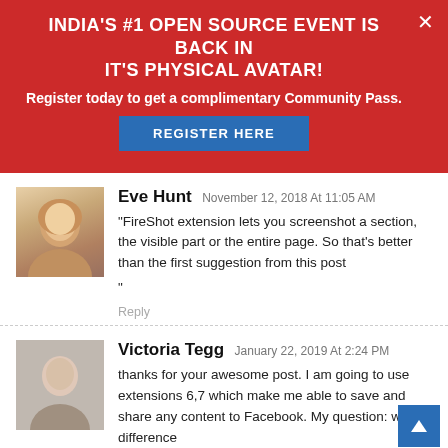INDIA'S #1 OPEN SOURCE EVENT IS BACK IN IT'S PHYSICAL AVATAR!
Register today to get a complimentary Community Pass.
REGISTER HERE
Eve Hunt  November 12, 2018 At 11:05 AM
"FireShot extension lets you screenshot a section, the visible part or the entire page. So that's better than the first suggestion from this post

"

Reply
Victoria Tegg  January 22, 2019 At 2:24 PM
thanks for your awesome post. I am going to use extensions 6,7 which make me able to save and share any content to Facebook. My question: what difference